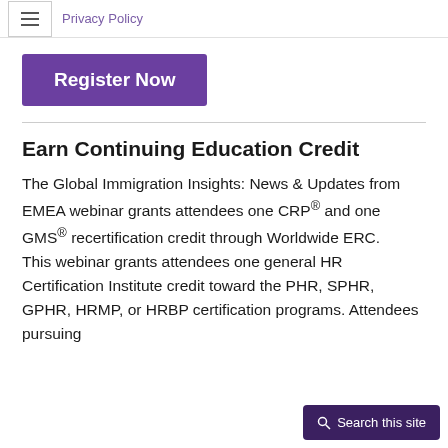Privacy Policy
[Figure (other): Register Now button — purple/violet rounded rectangle with white bold text]
Earn Continuing Education Credit
The Global Immigration Insights: News & Updates from EMEA webinar grants attendees one CRP® and one GMS® recertification credit through Worldwide ERC. This webinar grants attendees one general HR Certification Institute credit toward the PHR, SPHR, GPHR, HRMP, or HRBP certification programs. Attendees pursuing